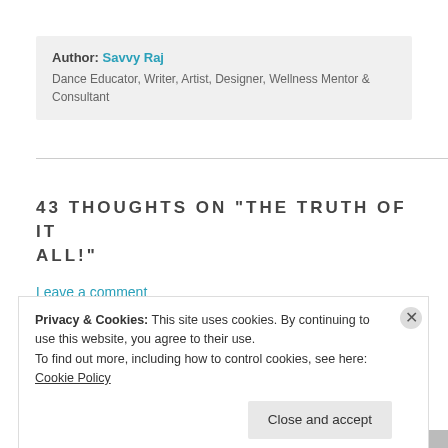Author: Savvy Raj
Dance Educator, Writer, Artist, Designer, Wellness Mentor & Consultant
43 THOUGHTS ON “THE TRUTH OF IT ALL!”
Leave a comment
Privacy & Cookies: This site uses cookies. By continuing to use this website, you agree to their use.
To find out more, including how to control cookies, see here: Cookie Policy
Close and accept